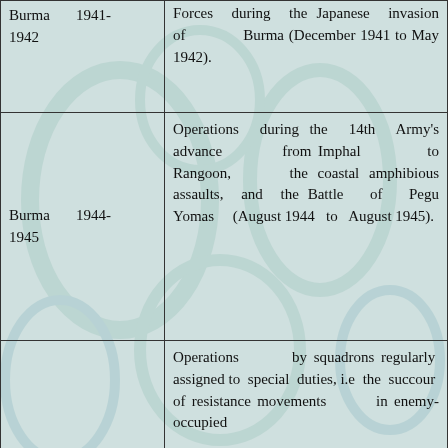| Burma 1941-1942 | Forces during the Japanese invasion of Burma (December 1941 to May 1942). |
| Burma 1944-1945 | Operations during the 14th Army's advance from Imphal to Rangoon, the coastal amphibious assaults, and the Battle of Pegu Yomas (August 1944 to August 1945). |
|  | Operations by squadrons regularly assigned to special duties, i.e the succour of resistance movements in enemy-occupied |